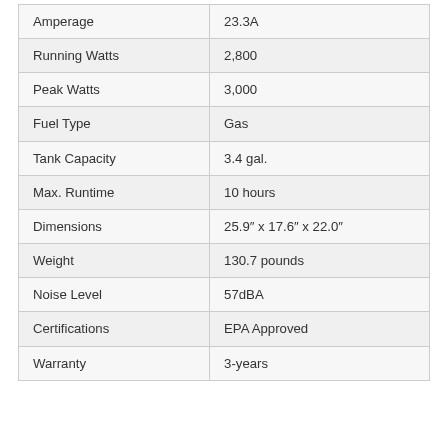|  |  |
| --- | --- |
| Amperage | 23.3A |
| Running Watts | 2,800 |
| Peak Watts | 3,000 |
| Fuel Type | Gas |
| Tank Capacity | 3.4 gal. |
| Max. Runtime | 10 hours |
| Dimensions | 25.9" x 17.6" x 22.0" |
| Weight | 130.7 pounds |
| Noise Level | 57dBA |
| Certifications | EPA Approved |
| Warranty | 3-years |